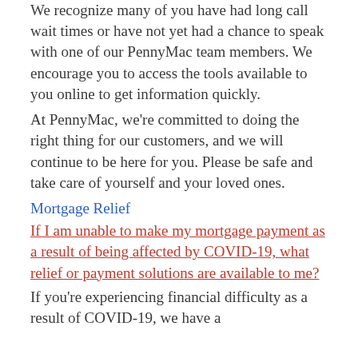We recognize many of you have had long call wait times or have not yet had a chance to speak with one of our PennyMac team members. We encourage you to access the tools available to you online to get information quickly.
At PennyMac, we're committed to doing the right thing for our customers, and we will continue to be here for you. Please be safe and take care of yourself and your loved ones.
Mortgage Relief
If I am unable to make my mortgage payment as a result of being affected by COVID-19, what relief or payment solutions are available to me?
If you're experiencing financial difficulty as a result of COVID-19, we have a